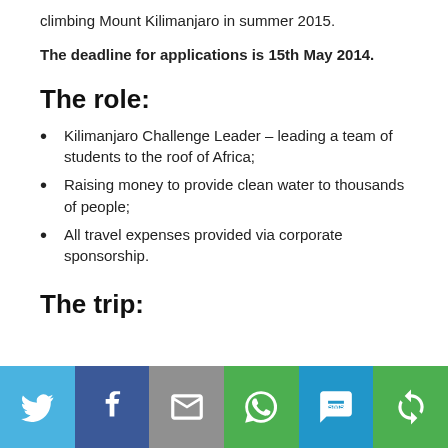climbing Mount Kilimanjaro in summer 2015.
The deadline for applications is 15th May 2014.
The role:
Kilimanjaro Challenge Leader – leading a team of students to the roof of Africa;
Raising money to provide clean water to thousands of people;
All travel expenses provided via corporate sponsorship.
The trip:
[Figure (infographic): Social sharing bar with icons for Twitter, Facebook, Email, WhatsApp, SMS, and a share/rotate icon on colored backgrounds.]